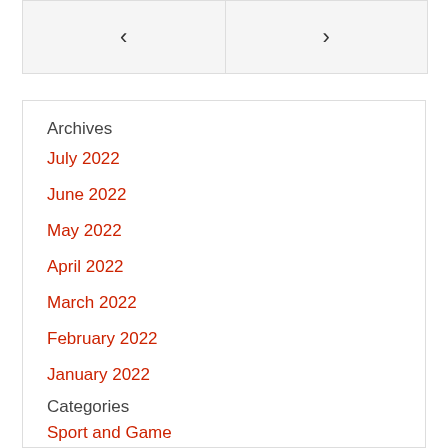[Figure (other): Navigation box with left chevron and right chevron arrows]
Archives
July 2022
June 2022
May 2022
April 2022
March 2022
February 2022
January 2022
Categories
Sport and Game